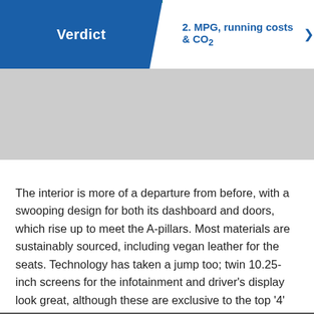Verdict | 2. MPG, running costs & CO2
[Figure (photo): Gray placeholder image area representing a car interior or exterior photo]
The interior is more of a departure from before, with a swooping design for both its dashboard and doors, which rise up to meet the A-pillars. Most materials are sustainably sourced, including vegan leather for the seats. Technology has taken a jump too; twin 10.25-inch screens for the infotainment and driver's display look great, although these are exclusive to the top '4' trim.